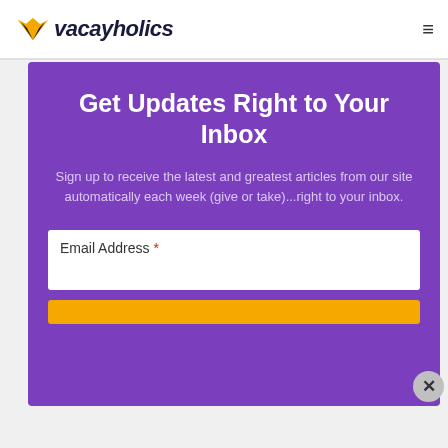vacayholics
Get Updates Right to Your Inbox
Sign up to receive the latest and greatest articles from our site automatically each week (give or take)...right to your inbox.
Email Address *